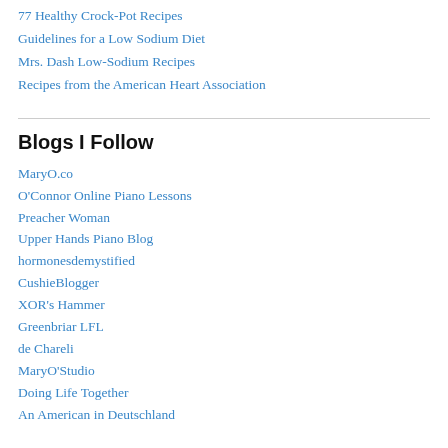77 Healthy Crock-Pot Recipes
Guidelines for a Low Sodium Diet
Mrs. Dash Low-Sodium Recipes
Recipes from the American Heart Association
Blogs I Follow
MaryO.co
O'Connor Online Piano Lessons
Preacher Woman
Upper Hands Piano Blog
hormonesdemystified
CushieBlogger
XOR's Hammer
Greenbriar LFL
de Chareli
MaryO'Studio
Doing Life Together
An American in Deutschland